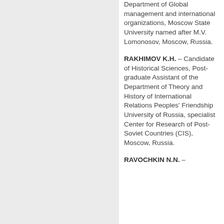Department of Global management and international organizations, Moscow State University named after M.V. Lomonosov, Moscow, Russia.
RAKHIMOV K.H. – Candidate of Historical Sciences, Post-graduate Assistant of the Department of Theory and History of International Relations Peoples' Friendship University of Russia, specialist Center for Research of Post-Soviet Countries (CIS), Moscow, Russia.
RAVOCHKIN N.N. –